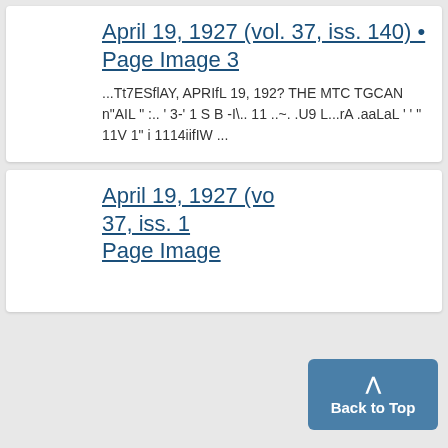April 19, 1927 (vol. 37, iss. 140) • Page Image 3
...Tt7ESflAY, APRIfL 19, 192? THE MTC TGCAN n"AIL " :.. ' 3-' 1 S B -I\.. 11 ..~. .U9 L...rA .aaLaL ' ' " 11V 1" i 1114iifIW ...
April 19, 1927 (vol. 37, iss. 1... Page Image...